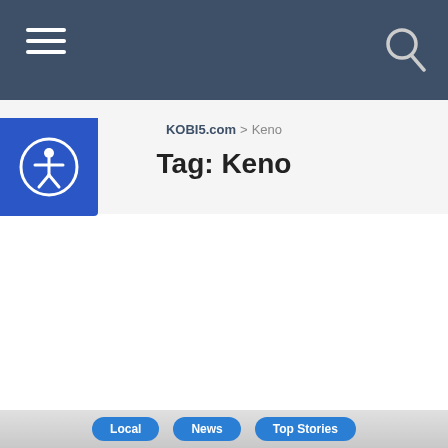KOBI5.com navigation bar with hamburger menu and search icon
[Figure (logo): Accessibility icon button - circle with person figure inside, blue background]
KOBI5.com > Keno
Tag: Keno
Local  News  Top Stories